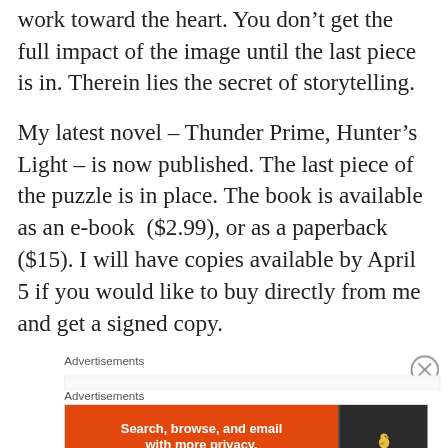work toward the heart. You don't get the full impact of the image until the last piece is in. Therein lies the secret of storytelling.
My latest novel – Thunder Prime, Hunter's Light – is now published. The last piece of the puzzle is in place. The book is available as an e-book ($2.99), or as a paperback ($15). I will have copies available by April 5 if you would like to buy directly from me and get a signed copy.
Advertisements
[Figure (other): Close/dismiss button (circled X icon)]
Advertisements
[Figure (screenshot): DuckDuckGo advertisement banner: orange left panel with text 'Search, browse, and email with more privacy. All in One Free App', dark right panel with DuckDuckGo duck logo and DuckDuckGo text.]